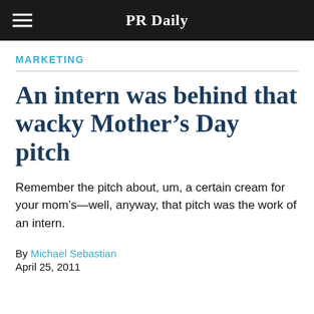PR Daily
MARKETING
An intern was behind that wacky Mother's Day pitch
Remember the pitch about, um, a certain cream for your mom's—well, anyway, that pitch was the work of an intern.
By Michael Sebastian
April 25, 2011